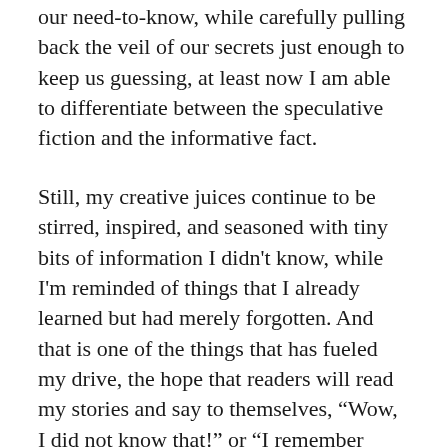our need-to-know, while carefully pulling back the veil of our secrets just enough to keep us guessing, at least now I am able to differentiate between the speculative fiction and the informative fact.
Still, my creative juices continue to be stirred, inspired, and seasoned with tiny bits of information I didn't know, while I'm reminded of things that I already learned but had merely forgotten. And that is one of the things that has fueled my drive, the hope that readers will read my stories and say to themselves, “Wow, I did not know that!” or “I remember hearing something about that, but in the context of this story, it is awesome!”
I believe that will happen because as I researched the earliest accounts of human history that were inscribed on stone tablets that could be deemed “as-old-as-dirt,” I realized that most of what I learned in